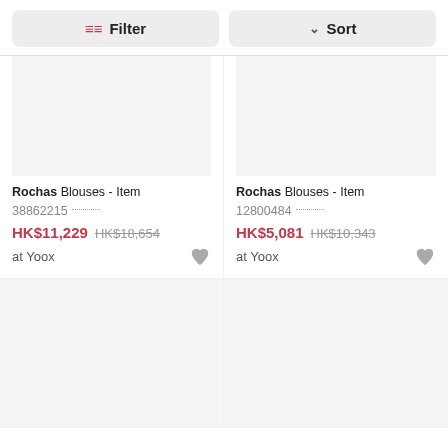Filter
Sort
Rochas Blouses - Item 38862215 ...
HK$11,229 HK$18,654
at Yoox
Rochas Blouses - Item 12800484 ...
HK$5,081 HK$10,343
at Yoox